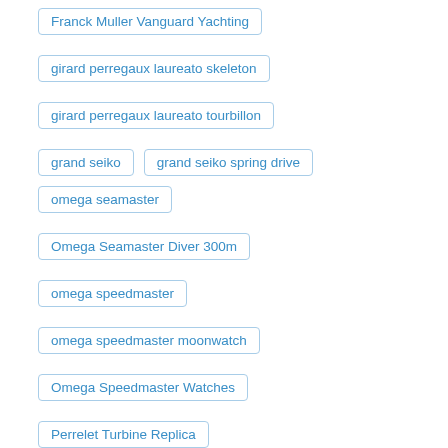Franck Muller Vanguard Yachting
girard perregaux laureato skeleton
girard perregaux laureato tourbillon
grand seiko
grand seiko spring drive
omega seamaster
Omega Seamaster Diver 300m
omega speedmaster
omega speedmaster moonwatch
Omega Speedmaster Watches
Perrelet Turbine Replica
Replica Bell & Ross Watch